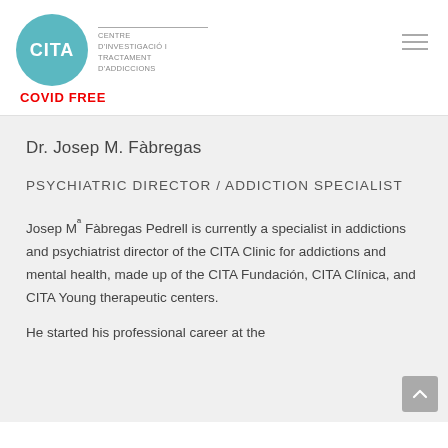[Figure (logo): CITA clinic logo: teal circle with 'CITA' white text, beside text 'CENTRE D'INVESTIGACIÓ I TRACTAMENT D'ADDICCIONS']
COVID FREE
Dr. Josep M. Fàbregas
PSYCHIATRIC DIRECTOR / ADDICTION SPECIALIST
Josep Mª Fàbregas Pedrell is currently a specialist in addictions and psychiatrist director of the CITA Clinic for addictions and mental health, made up of the CITA Fundación, CITA Clínica, and CITA Young therapeutic centers.
He started his professional career at the